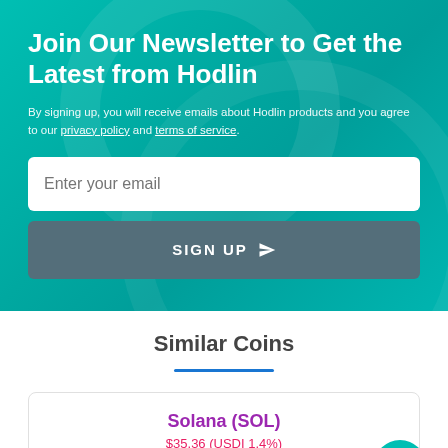Join Our Newsletter to Get the Latest from Hodlin
By signing up, you will receive emails about Hodlin products and you agree to our privacy policy and terms of service.
Enter your email
SIGN UP
Similar Coins
Solana (SOL)
$35.36 (USDI 1.4%)